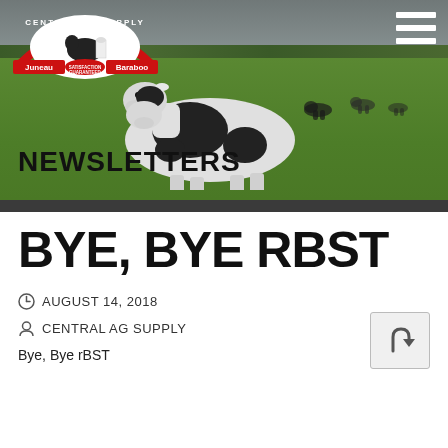[Figure (photo): Hero banner showing a farm field with black and white dairy cows grazing on green grass under a cloudy sky. Overlaid with 'NEWSLETTERS' text in bold black. Central Ag Supply Inc. logo top left with Juneau and Baraboo text. Hamburger menu icon top right.]
BYE, BYE RBST
AUGUST 14, 2018
CENTRAL AG SUPPLY
Bye, Bye rBST